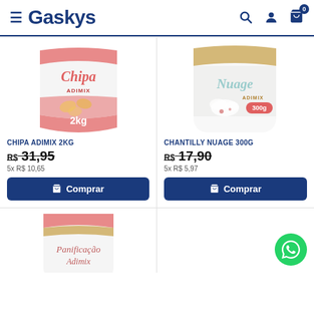Gaskys
[Figure (photo): Chipa Adimix 2kg product bag]
CHIPA ADIMIX 2KG
R$ 31,95
5x R$ 10,65
Comprar
[Figure (photo): Chantilly Nuage 300g product bag]
CHANTILLY NUAGE 300G
R$ 17,90
5x R$ 5,97
Comprar
[Figure (photo): Panificação Adimix product bag (partially visible)]